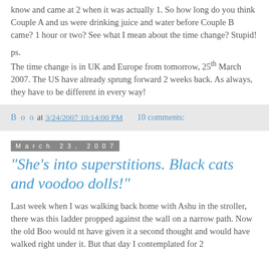know and came at 2 when it was actually 1. So how long do you think Couple A and us were drinking juice and water before Couple B came? 1 hour or two? See what I mean about the time change? Stupid!
ps.
The time change is in UK and Europe from tomorrow, 25th March 2007. The US have already sprung forward 2 weeks back. As always, they have to be different in every way!
B o o at 3/24/2007 10:14:00 PM    10 comments:
March 23, 2007
"She's into superstitions. Black cats and voodoo dolls!"
Last week when I was walking back home with Ashu in the stroller, there was this ladder propped against the wall on a narrow path. Now the old Boo would nt have given it a second thought and would have walked right under it. But that day I contemplated for 2